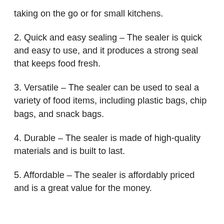taking on the go or for small kitchens.
2. Quick and easy sealing – The sealer is quick and easy to use, and it produces a strong seal that keeps food fresh.
3. Versatile – The sealer can be used to seal a variety of food items, including plastic bags, chip bags, and snack bags.
4. Durable – The sealer is made of high-quality materials and is built to last.
5. Affordable – The sealer is affordably priced and is a great value for the money.